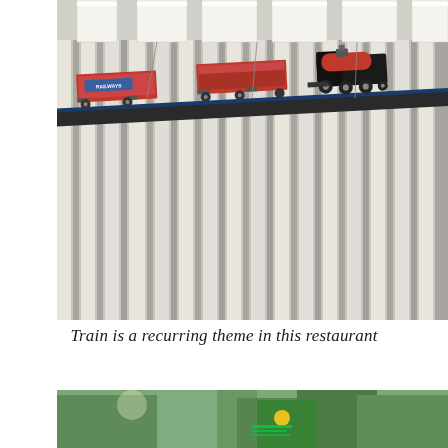[Figure (photo): Model trains on a track mounted near the ceiling of a restaurant interior, with fluorescent lighting and metal ceiling panels visible. Red freight cars and a dark steam locomotive are displayed on a shelf/track.]
Train is a recurring theme in this restaurant
[Figure (photo): Outdoor urban scene viewed through glass and green foliage/leaves in foreground, showing city buildings, a green wall with a yellow logo, illuminated signage, and street scene with buses, photographed with a bokeh/blur effect.]